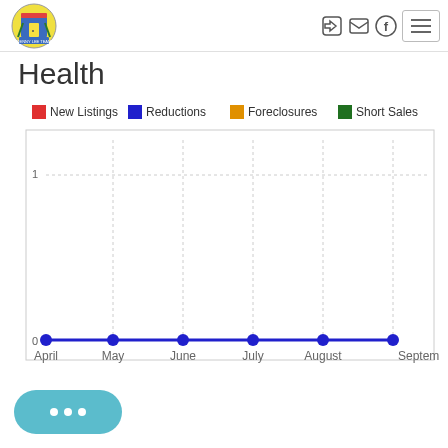Denny Lee Team logo and navigation icons
Health
[Figure (line-chart): Health]